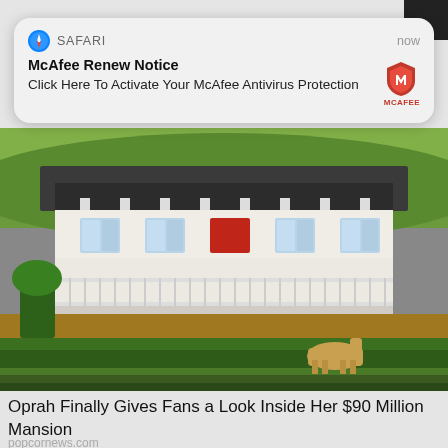[Figure (screenshot): iOS Safari push notification: 'McAfee Renew Notice — Click Here To Activate Your McAfee Antivirus Protection', with McAfee shield logo and timestamp 'now']
[Figure (photo): Photo of a large white plantation-style mansion with dark roof, wrap-around porch, green landscaping, and a horse on the lawn.]
Oprah Finally Gives Fans a Look Inside Her $90 Million Mansion
popcornews.com
[Figure (photo): Partially visible photo of a woman with brown hair outdoors, cropped at bottom of page.]